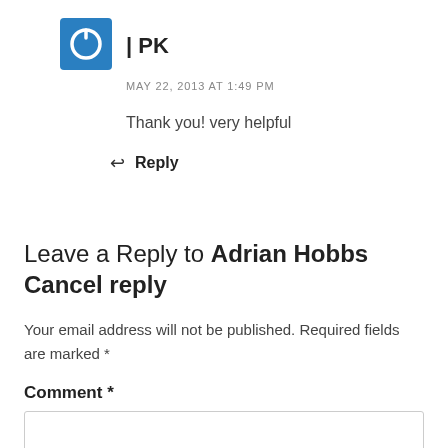[Figure (logo): Blue square icon with a power/circle symbol in white]
| PK
MAY 22, 2013 AT 1:49 PM
Thank you! very helpful
↩ Reply
Leave a Reply to Adrian Hobbs Cancel reply
Your email address will not be published. Required fields are marked *
Comment *